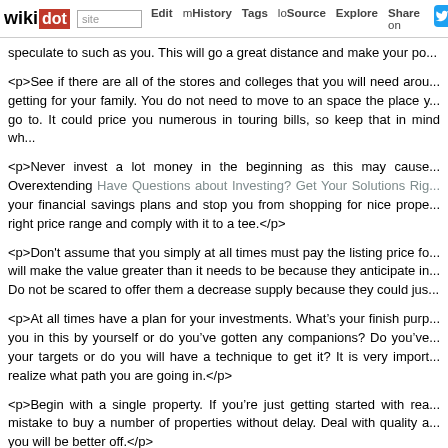wikidot | site | Edit | History | Tags | Source | Explore | Share on [Twitter]
speculate to such as you. This will go a great distance and make your po...
<p>See if there are all of the stores and colleges that you will need arou... getting for your family. You do not need to move to an space the place y... go to. It could price you numerous in touring bills, so keep that in mind wh...
<p>Never invest a lot money in the beginning as this may cause... Overextending Have Questions about Investing? Get Your Solutions Rig... your financial savings plans and stop you from shopping for nice prope... right price range and comply with it to a tee.</p>
<p>Don't assume that you simply at all times must pay the listing price fo... will make the value greater than it needs to be because they anticipate in... Do not be scared to offer them a decrease supply because they could jus...
<p>At all times have a plan for your investments. What’s your finish purp... you in this by yourself or do you’ve gotten any companions? Do you’ve... your targets or do you will have a technique to get it? It is very import... realize what path you are going in.</p>
<p>Begin with a single property. If you’re just getting started with rea... mistake to buy a number of properties without delay. Deal with quality a... you will be better off.</p>
<p>Look for distressed properties at bargain costs. You possibly can us... value. Shopping for these and fixing them up can internet you massive in... more by following the strategy than you’d by buying properties that need l...
<p>Completely do your research on any doable tenants you are cons... improper tenant to cause nice harm and be consistently late with the...